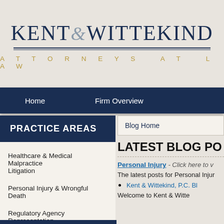[Figure (logo): Kent & Wittekind Attorneys at Law law firm logo with navy blue firm name and gold tagline]
Home   Firm Overview
PRACTICE AREAS
Healthcare & Medical Malpractice Litigation
Personal Injury & Wrongful Death
Regulatory Agency Representation
Blog Home
LATEST BLOG PO...
Personal Injury - Click here to v...
The latest posts for Personal Injur...
Kent & Wittekind, P.C. Bl...
Welcome to Kent & Witte...